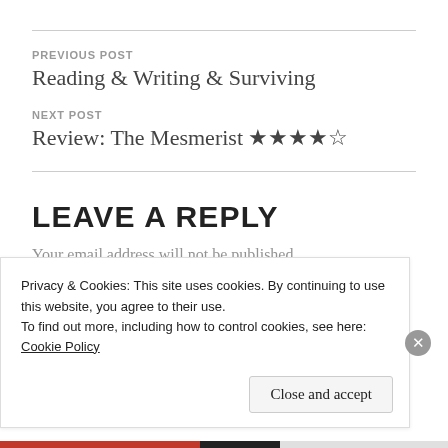PREVIOUS POST
Reading & Writing & Surviving
NEXT POST
Review: The Mesmerist ★★★★☆
LEAVE A REPLY
Your email address will not be published.
Privacy & Cookies: This site uses cookies. By continuing to use this website, you agree to their use.
To find out more, including how to control cookies, see here:
Cookie Policy